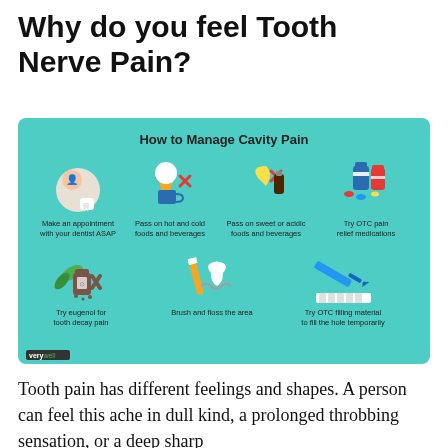Why do you feel Tooth Nerve Pain?
[Figure (infographic): Infographic titled 'How to Manage Cavity Pain' on a teal/mint background. Shows 7 tips with icons: Make an appointment with your dentist ASAP; Pass on hot and cold foods and beverages; Pass on sweet or acidic foods and beverages; Try OTC pain relief medications; Try eugenol for tooth decay pain; Brush and floss the area; Try OTC filling material to fill the hole temporarily. Branded 'verywell' in bottom-left.]
Tooth pain has different feelings and shapes. A person can feel this ache in dull kind, a prolonged throbbing sensation, or a deep sharp